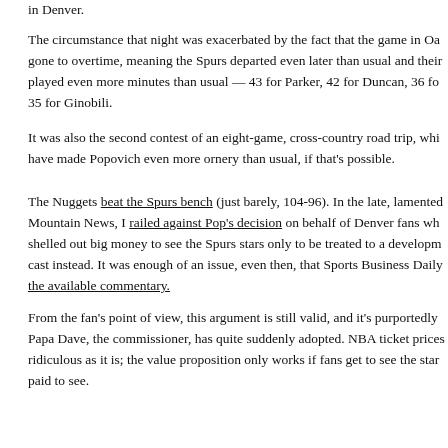in Denver.
The circumstance that night was exacerbated by the fact that the game in Oa gone to overtime, meaning the Spurs departed even later than usual and their played even more minutes than usual — 43 for Parker, 42 for Duncan, 36 fo 35 for Ginobili.
It was also the second contest of an eight-game, cross-country road trip, whi have made Popovich even more ornery than usual, if that's possible.
The Nuggets beat the Spurs bench (just barely, 104-96). In the late, lamented Mountain News, I railed against Pop's decision on behalf of Denver fans wh shelled out big money to see the Spurs stars only to be treated to a developm cast instead. It was enough of an issue, even then, that Sports Business Daily the available commentary.
From the fan's point of view, this argument is still valid, and it's purportedly Papa Dave, the commissioner, has quite suddenly adopted. NBA ticket prices ridiculous as it is; the value proposition only works if fans get to see the star paid to see.
At the time, Papa Dave did nothing. As recently as last season, NBA brass sa would be a mistake to infringe on a coach's right to deploy his players as he After all, coaches routinely rest star players in the spring as the playoffs appr
Evidently, in his waning days as commissioner — Stern plans to retire Feb. after 30 years on the job — it suddenly occurred to Papa Dave that this is a